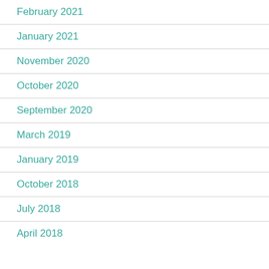February 2021
January 2021
November 2020
October 2020
September 2020
March 2019
January 2019
October 2018
July 2018
April 2018